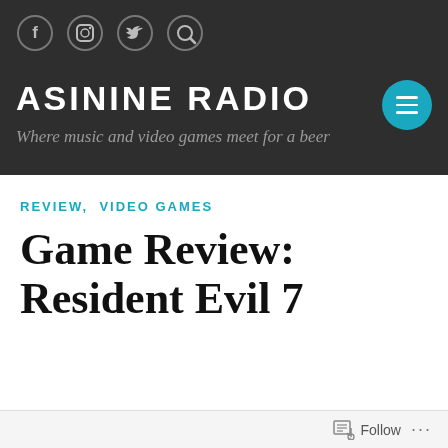[Figure (screenshot): Social media icons in circles: Facebook, Instagram, Twitter, Search]
ASININE RADIO
Where music and video games meet for a beer
REVIEW, VIDEO GAMES
Game Review: Resident Evil 7
Follow ...